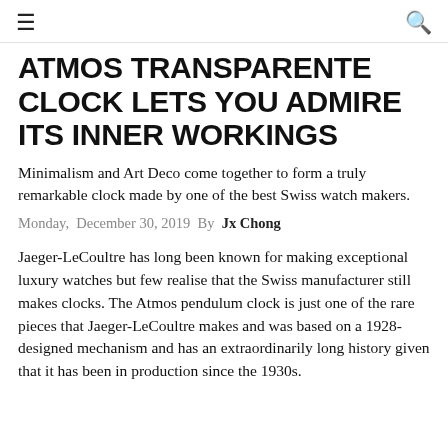≡  🔍
ATMOS TRANSPARENTE CLOCK LETS YOU ADMIRE ITS INNER WORKINGS
Minimalism and Art Deco come together to form a truly remarkable clock made by one of the best Swiss watch makers.
Monday, December 30, 2019 By Jx Chong
Jaeger-LeCoultre has long been known for making exceptional luxury watches but few realise that the Swiss manufacturer still makes clocks. The Atmos pendulum clock is just one of the rare pieces that Jaeger-LeCoultre makes and was based on a 1928-designed mechanism and has an extraordinarily long history given that it has been in production since the 1930s.